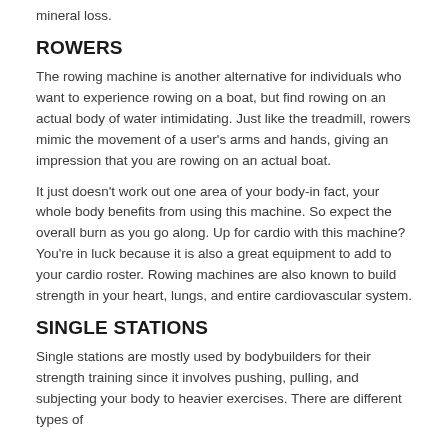mineral loss.
ROWERS
The rowing machine is another alternative for individuals who want to experience rowing on a boat, but find rowing on an actual body of water intimidating. Just like the treadmill, rowers mimic the movement of a user's arms and hands, giving an impression that you are rowing on an actual boat.
It just doesn't work out one area of your body-in fact, your whole body benefits from using this machine. So expect the overall burn as you go along. Up for cardio with this machine? You're in luck because it is also a great equipment to add to your cardio roster. Rowing machines are also known to build strength in your heart, lungs, and entire cardiovascular system.
SINGLE STATIONS
Single stations are mostly used by bodybuilders for their strength training since it involves pushing, pulling, and subjecting your body to heavier exercises. There are different types of